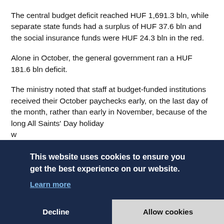The central budget deficit reached HUF 1,691.3 bln, while separate state funds had a surplus of HUF 37.6 bln and the social insurance funds were HUF 24.3 bln in the red.
Alone in October, the general government ran a HUF 181.6 bln deficit.
The ministry noted that staff at budget-funded institutions received their October paychecks early, on the last day of the month, rather than early in November, because of the long All Saints' Day holiday w... b...
[Figure (screenshot): Cookie consent banner overlay with dark navy background. Text: 'This website uses cookies to ensure you get the best experience on our website.' with a 'Learn more' link. Two buttons: 'Decline' and 'Allow cookies'.]